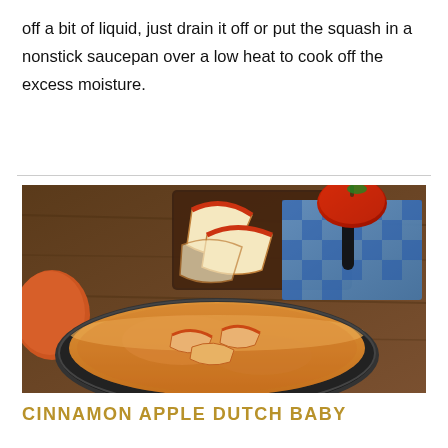off a bit of liquid, just drain it off or put the squash in a nonstick saucepan over a low heat to cook off the excess moisture.
[Figure (photo): A cast iron skillet containing a golden-brown cinnamon apple Dutch baby pancake topped with sliced apples. In the background, fresh apple slices on a wooden cutting board, a whole red apple, and a blue and white checkered cloth with a black skillet handle visible.]
CINNAMON APPLE DUTCH BABY